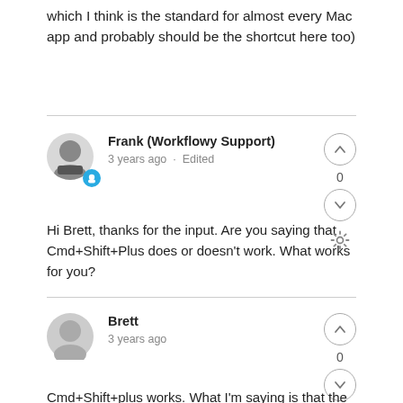which I think is the standard for almost every Mac app and probably should be the shortcut here too)
Frank (Workflowy Support)
3 years ago · Edited

Hi Brett, thanks for the input. Are you saying that Cmd+Shift+Plus does or doesn't work. What works for you?
Brett
3 years ago

Cmd+Shift+plus works. What I'm saying is that the